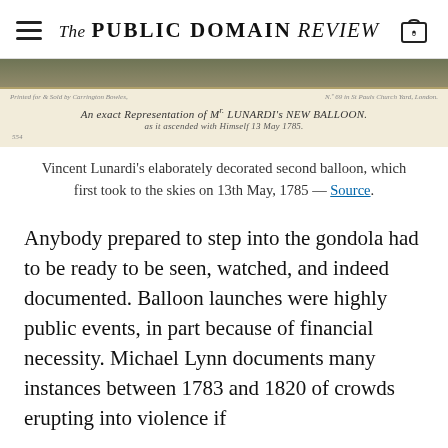The PUBLIC DOMAIN REVIEW
[Figure (photo): Historical illustration banner showing 'An exact Representation of Mr. LUNARDI's NEW BALLOON, as it ascended with Himself 13 May 1785'. Aged document with decorative border, text in italic script, printed by Carrington Bowles, No. 69 in St. Paul's Church Yard, London.]
Vincent Lunardi's elaborately decorated second balloon, which first took to the skies on 13th May, 1785 — Source.
Anybody prepared to step into the gondola had to be ready to be seen, watched, and indeed documented. Balloon launches were highly public events, in part because of financial necessity. Michael Lynn documents many instances between 1783 and 1820 of crowds erupting into violence if